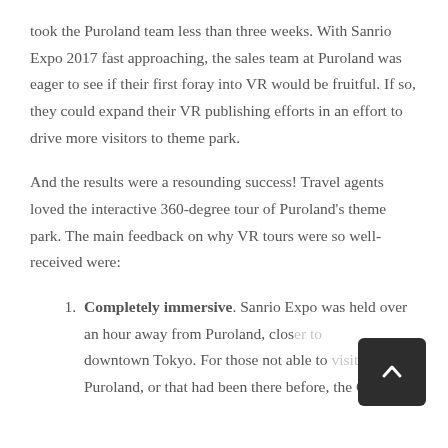took the Puroland team less than three weeks. With Sanrio Expo 2017 fast approaching, the sales team at Puroland was eager to see if their first foray into VR would be fruitful. If so, they could expand their VR publishing efforts in an effort to drive more visitors to theme park.
And the results were a resounding success! Travel agents loved the interactive 360-degree tour of Puroland's theme park. The main feedback on why VR tours were so well-received were:
Completely immersive. Sanrio Expo was held over an hour away from Puroland, closer to downtown Tokyo. For those not able to visit Puroland, or that had been there before, the Gear